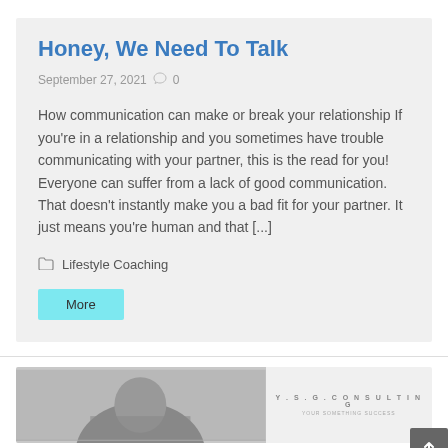Honey, We Need To Talk
September 27, 2021  0
How communication can make or break your relationship If you're in a relationship and you sometimes have trouble communicating with your partner, this is the read for you! Everyone can suffer from a lack of good communication. That doesn't instantly make you a bad fit for your partner. It just means you're human and that [...]
Lifestyle Coaching
More
[Figure (photo): Black and white photo of a person, with Y.S.G. Consulting logo text on the right side]